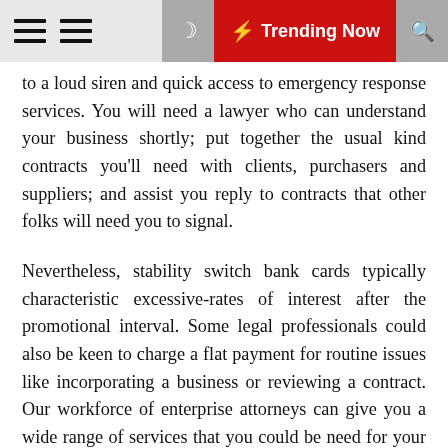Trending Now
to a loud siren and quick access to emergency response services. You will need a lawyer who can understand your business shortly; put together the usual kind contracts you'll need with clients, purchasers and suppliers; and assist you reply to contracts that other folks will need you to signal.
Nevertheless, stability switch bank cards typically characteristic excessive-rates of interest after the promotional interval. Some legal professionals could also be keen to charge a flat payment for routine issues like incorporating a business or reviewing a contract. Our workforce of enterprise attorneys can give you a wide range of services that you could be need for your corporation.
A good business legal professional is sort of a associate to your online business and can see you through a number of the most difficult times for your company. There are various home security systems on the market, each one